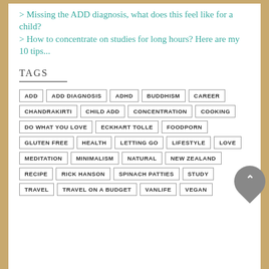> Missing the ADD diagnosis, what does this feel like for a child?
> How to concentrate on studies for long hours? Here are my 10 tips...
Tags
ADD, ADD DIAGNOSIS, ADHD, BUDDHISM, CAREER, CHANDRAKIRTI, CHILD ADD, CONCENTRATION, COOKING, DO WHAT YOU LOVE, ECKHART TOLLE, FOODPORN, GLUTEN FREE, HEALTH, LETTING GO, LIFESTYLE, LOVE, MEDITATION, MINIMALISM, NATURAL, NEW ZEALAND, RECIPE, RICK HANSON, SPINACH PATTIES, STUDY, TRAVEL, TRAVEL ON A BUDGET, VANLIFE, VEGAN